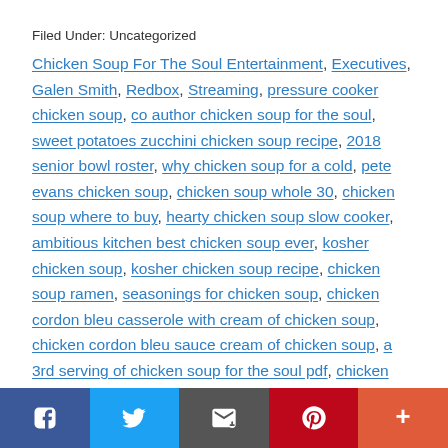Filed Under: Uncategorized
Chicken Soup For The Soul Entertainment, Executives, Galen Smith, Redbox, Streaming, pressure cooker chicken soup, co author chicken soup for the soul, sweet potatoes zucchini chicken soup recipe, 2018 senior bowl roster, why chicken soup for a cold, pete evans chicken soup, chicken soup whole 30, chicken soup where to buy, hearty chicken soup slow cooker, ambitious kitchen best chicken soup ever, kosher chicken soup, kosher chicken soup recipe, chicken soup ramen, seasonings for chicken soup, chicken cordon bleu casserole with cream of chicken soup, chicken cordon bleu sauce cream of chicken soup, a 3rd serving of chicken soup for the soul pdf, chicken crepes with cream of chicken soup, chicken chicken soup, how to make chicken soup with chicken